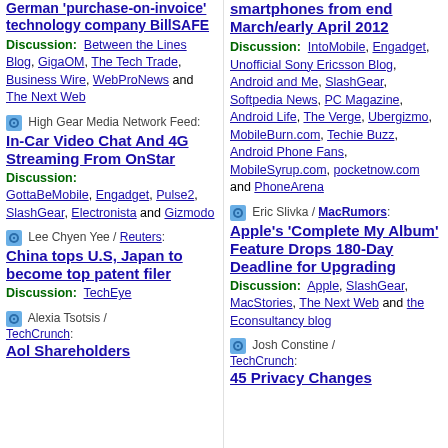German 'purchase-on-invoice' technology company BillSAFE
Discussion: Between the Lines Blog, GigaOM, The Tech Trade, Business Wire, WebProNews and The Next Web
High Gear Media Network Feed: In-Car Video Chat And 4G Streaming From OnStar
Discussion: GottaBeMobile, Engadget, Pulse2, SlashGear, Electronista and Gizmodo
Lee Chyen Yee / Reuters: China tops U.S, Japan to become top patent filer
Discussion: TechEye
Alexia Tsotsis / TechCrunch: Aol Shareholders
smartphones from end March/early April 2012
Discussion: IntoMobile, Engadget, Unofficial Sony Ericsson Blog, Android and Me, SlashGear, Softpedia News, PC Magazine, Android Life, The Verge, Ubergizmo, MobileBurn.com, Techie Buzz, Android Phone Fans, MobileSyrup.com, pocketnow.com and PhoneArena
Eric Slivka / MacRumors: Apple's 'Complete My Album' Feature Drops 180-Day Deadline for Upgrading
Discussion: Apple, SlashGear, MacStories, The Next Web and the Econsultancy blog
Josh Constine / TechCrunch: 45 Privacy Changes